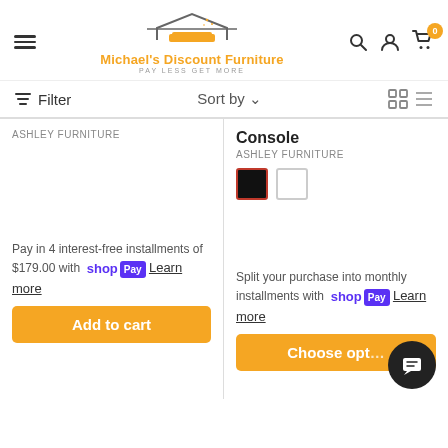[Figure (logo): Michael's Discount Furniture logo with house icon, orange text, tagline PAY LESS GET MORE]
Filter
Sort by
ASHLEY FURNITURE
Console
ASHLEY FURNITURE
Pay in 4 interest-free installments of $179.00 with shop Pay Learn more
Split your purchase into monthly installments with shop Pay Learn more
Add to cart
Choose opt...